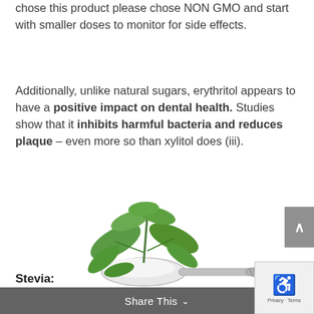chose this product please chose NON GMO and start with smaller doses to monitor for side effects.
Additionally, unlike natural sugars, erythritol appears to have a positive impact on dental health. Studies show that it inhibits harmful bacteria and reduces plaque – even more so than xylitol does (iii).
[Figure (photo): A spoon holding white powder (sugar substitute) with green mint/stevia leaves arranged around and on top of it, on a white background.]
Share This ∨
Stevia: